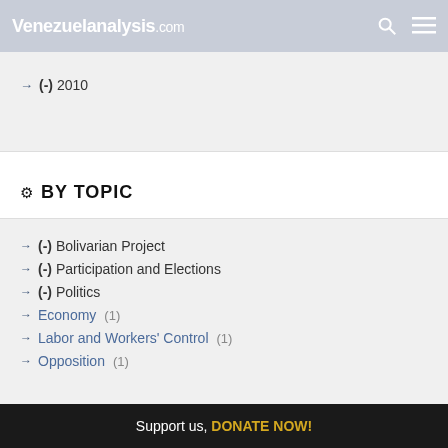Venezuelanalysis.com
(-) 2010
BY TOPIC
(-) Bolivarian Project
(-) Participation and Elections
(-) Politics
Economy (1)
Labor and Workers' Control (1)
Opposition (1)
Support us, DONATE NOW!